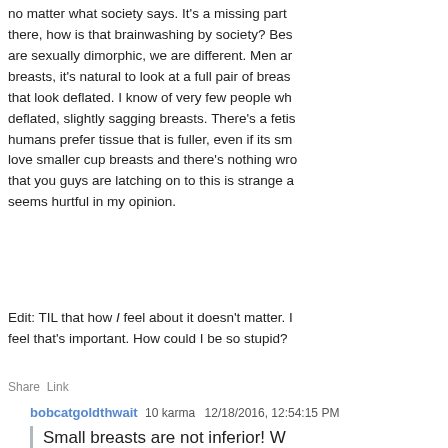no matter what society says. It's a missing part there, how is that brainwashing by society? Besides, are sexually dimorphic, we are different. Men are breasts, it's natural to look at a full pair of breasts that look deflated. I know of very few people who deflated, slightly sagging breasts. There's a fetis humans prefer tissue that is fuller, even if its smaller love smaller cup breasts and there's nothing wrong that you guys are latching on to this is strange a seems hurtful in my opinion.
Edit: TIL that how I feel about it doesn't matter. I feel that's important. How could I be so stupid?
Share Link
bobcatgoldthwait 10 karma 12/18/2016, 12:54:15 PM
Small breasts are not inferior! W
YOU did, when you called your perfectly normal flat". There was nothing "sad" about your br perceived them. Choose your language mo to bring other women down.